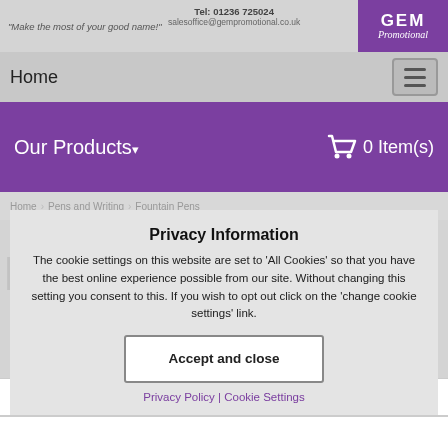"Make the most of your good name!" Tel: 01236 725024 salesoffice@gempromotional.co.uk GEM Promotional
Home
Our Products ▾   🛒 0 Item(s)
Home  Pens and Writing  Fountain Pens
Privacy Information
The cookie settings on this website are set to 'All Cookies' so that you have the best online experience possible from our site. Without changing this setting you consent to this. If you wish to opt out click on the 'change cookie settings' link.
Accept and close
Privacy Policy | Cookie Settings
View
Fountain Pens